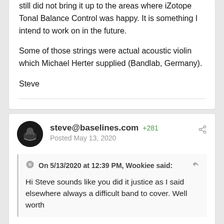still did not bring it up to the areas where iZotope Tonal Balance Control was happy.  It is something I intend to work on in the future.
Some of those strings were actual acoustic violin which Michael Herter supplied (Bandlab, Germany).
Steve
steve@baselines.com +281 Posted May 13, 2020
On 5/13/2020 at 12:39 PM, Wookiee said:
Hi Steve sounds like you did it justice as I said elsewhere always a difficult band to cover. Well worth